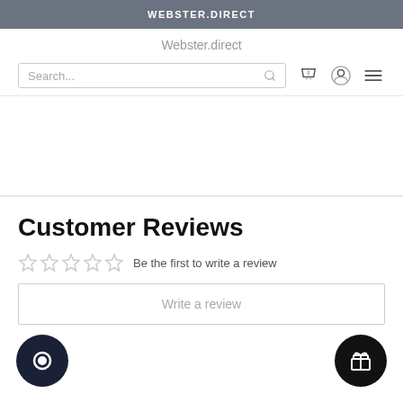WEBSTER.DIRECT
Webster.direct
Search...
Customer Reviews
Be the first to write a review
Write a review